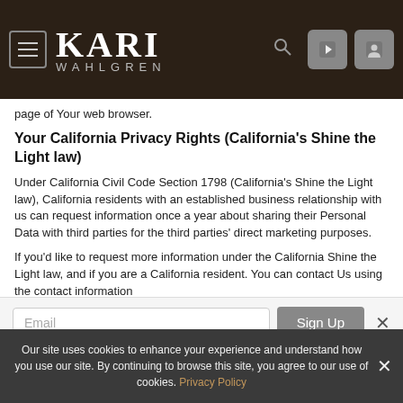KARI WAHLGREN
page of Your web browser.
Your California Privacy Rights (California's Shine the Light law)
Under California Civil Code Section 1798 (California's Shine the Light law), California residents with an established business relationship with us can request information once a year about sharing their Personal Data with third parties for the third parties' direct marketing purposes.
If you'd like to request more information under the California Shine the Light law, and if you are a California resident. You can contact Us using the contact information
Email [input] Sign Up
Become a site community member
Our site uses cookies to enhance your experience and understand how you use our site. By continuing to browse this site, you agree to our use of cookies. Privacy Policy